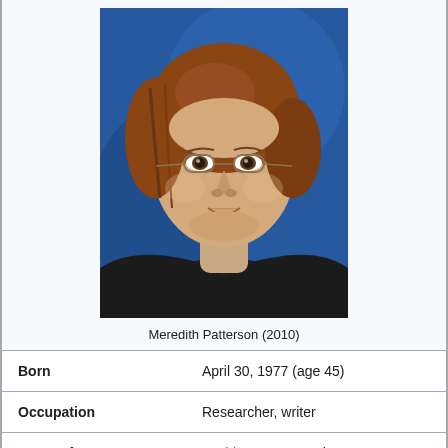[Figure (photo): Portrait photo of Meredith Patterson against a blue background, wearing dark clothing and glasses, with reddish-brown hair]
Meredith Patterson (2010)
| Born | April 30, 1977 (age 45) |
| Occupation | Researcher, writer |
| Known for | DIYbio, X.509 attacks |